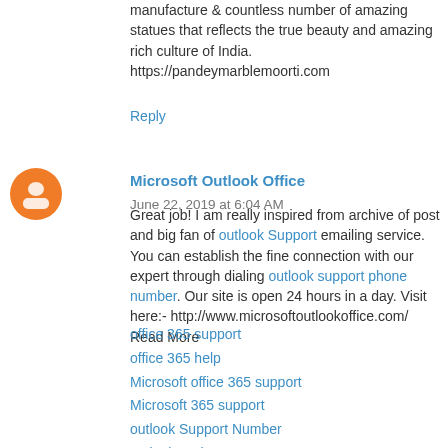manufacture & countless number of amazing statues that reflects the true beauty and amazing rich culture of India. https://pandeymarblemoorti.com
Reply
Microsoft Outlook Office  June 22, 2019 at 6:04 AM
Great job! I am really inspired from archive of post and big fan of outlook Support emailing service. You can establish the fine connection with our expert through dialing outlook support phone number. Our site is open 24 hours in a day. Visit here:- http://www.microsoftoutlookoffice.com/
Read More
office 365 support
office 365 help
Microsoft office 365 support
Microsoft 365 support
outlook Support Number
outlook Tech Support
outlook technical Support
Microsoft outlook Support
outlook customer Service